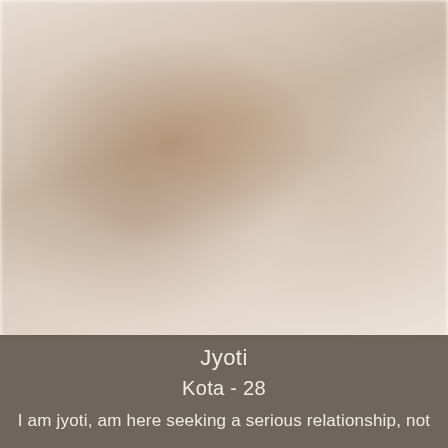[Figure (photo): A blurred/pixelated portrait photo of a person with warm beige and brown tones, heavily blurred for privacy]
Jyoti
Kota - 28
I am jyoti, am here seeking a serious relationship, not